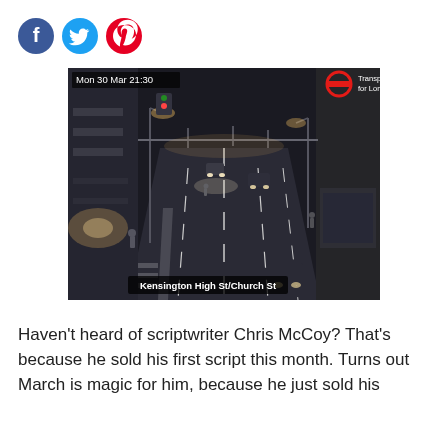[Figure (other): Social media share icons: Facebook (blue circle), Twitter (blue circle), Pinterest (red circle)]
[Figure (screenshot): CCTV traffic camera footage from Transport for London showing Kensington High St/Church St at night on Mon 30 Mar 21:30. The image shows a nearly empty multi-lane road illuminated by streetlights, with a few cars visible and pedestrians on the pavement.]
Haven't heard of scriptwriter Chris McCoy? That's because he sold his first script this month. Turns out March is magic for him, because he just sold his